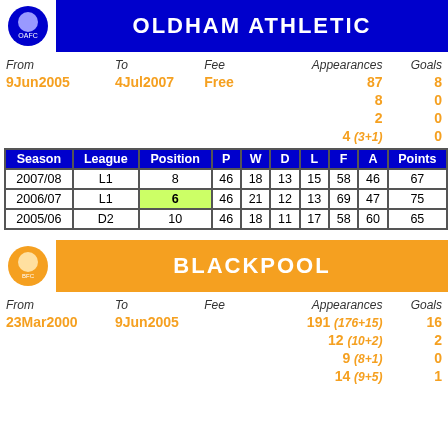OLDHAM ATHLETIC
| From | To | Fee | Appearances | Goals |
| --- | --- | --- | --- | --- |
| 9Jun2005 | 4Jul2007 | Free | 87 | 8 |
|  |  |  | 8 | 0 |
|  |  |  | 2 | 0 |
|  |  |  | 4 (3+1) | 0 |
| Season | League | Position | P | W | D | L | F | A | Points |
| --- | --- | --- | --- | --- | --- | --- | --- | --- | --- |
| 2007/08 | L1 | 8 | 46 | 18 | 13 | 15 | 58 | 46 | 67 |
| 2006/07 | L1 | 6 | 46 | 21 | 12 | 13 | 69 | 47 | 75 |
| 2005/06 | D2 | 10 | 46 | 18 | 11 | 17 | 58 | 60 | 65 |
BLACKPOOL
| From | To | Fee | Appearances | Goals |
| --- | --- | --- | --- | --- |
| 23Mar2000 | 9Jun2005 |  | 191 (176+15) | 16 |
|  |  |  | 12 (10+2) | 2 |
|  |  |  | 9 (8+1) | 0 |
|  |  |  | 14 (9+5) | 1 |